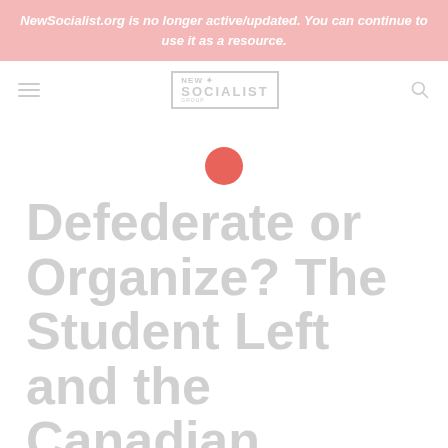NewSocialist.org is no longer active/updated. You can continue to use it as a resource.
[Figure (logo): New Socialist logo with hamburger menu and search icon in navigation bar]
[Figure (illustration): Red circle/dot decorative element]
Defederate or Organize? The Student Left and the Canadian